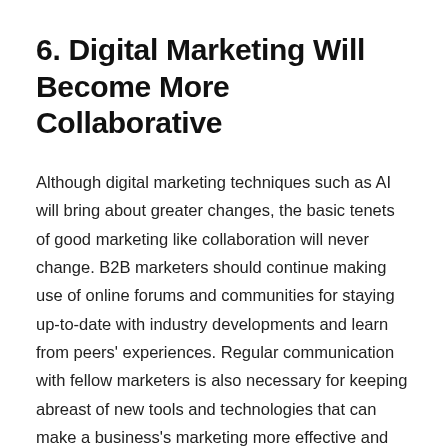6. Digital Marketing Will Become More Collaborative
Although digital marketing techniques such as AI will bring about greater changes, the basic tenets of good marketing like collaboration will never change. B2B marketers should continue making use of online forums and communities for staying up-to-date with industry developments and learn from peers' experiences. Regular communication with fellow marketers is also necessary for keeping abreast of new tools and technologies that can make a business's marketing more effective and efficient in the long run.
By 2021, successful B2B digital marketing campaigns will be those that take into account the latest consumer and industry trends and utilize the advanced technology to meet these